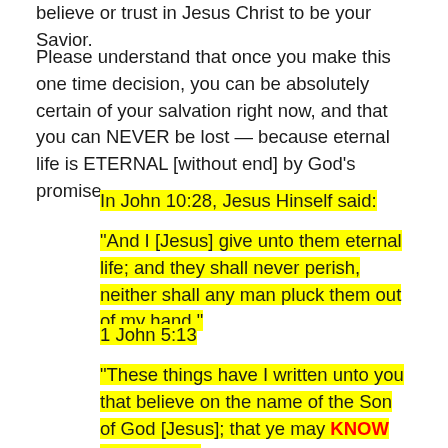believe or trust in Jesus Christ to be your Savior.
Please understand that once you make this one time decision, you can be absolutely certain of your salvation right now, and that you can NEVER be lost — because eternal life is ETERNAL [without end] by God's promise.
In John 10:28, Jesus Hinself said:
“And I [Jesus] give unto them eternal life; and they shall never perish, neither shall any man pluck them out of my hand.”
1 John 5:13
“These things have I written unto you that believe on the name of the Son of God [Jesus]; that ye may KNOW that ye have